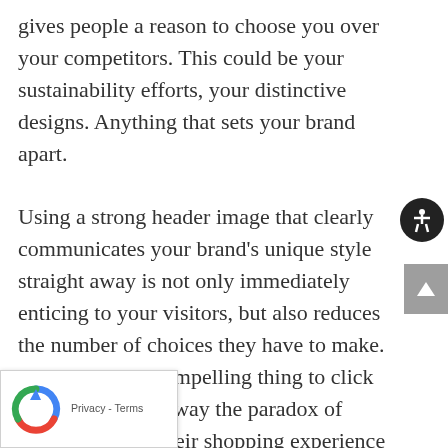gives people a reason to choose you over your competitors. This could be your sustainability efforts, your distinctive designs. Anything that sets your brand apart.

Using a strong header image that clearly communicates your brand's unique style straight away is not only immediately enticing to your visitors, but also reduces the number of choices they have to make. Give them one compelling thing to click on and you take away the paradox of choice, making their shopping experience much more